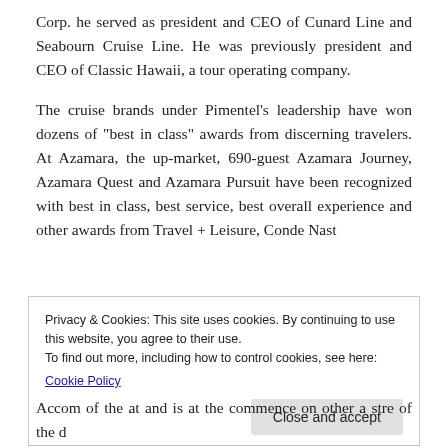Corp. he served as president and CEO of Cunard Line and Seabourn Cruise Line. He was previously president and CEO of Classic Hawaii, a tour operating company.
The cruise brands under Pimentel’s leadership have won dozens of “best in class” awards from discerning travelers. At Azamara, the up-market, 690-guest Azamara Journey, Azamara Quest and Azamara Pursuit have been recognized with best in class, best service, best overall experience and other awards from Travel + Leisure, Conde Nast
Privacy & Cookies: This site uses cookies. By continuing to use this website, you agree to their use.
To find out more, including how to control cookies, see here:
Cookie Policy
Close and accept
Accom of the at and is at the commence on other a stre of the d